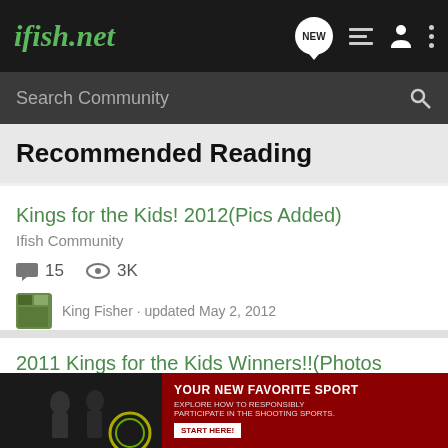ifish.net
Search Community
Recommended Reading
Kings for the Kids! 2012(Pics Added)
Ifish Community
15  3K
King Fisher · updated May 2, 2012
2011 Kings for the Kids Winners!!(Photos Added!!)
Ifish Community
16  4K
King Fisher · updated
[Figure (screenshot): Advertisement banner: YOUR NEW FAVORITE SPORT - EXPLORE HOW TO RESPONSIBLY PARTICIPATE IN THE SHOOTING SPORTS. START HERE!]